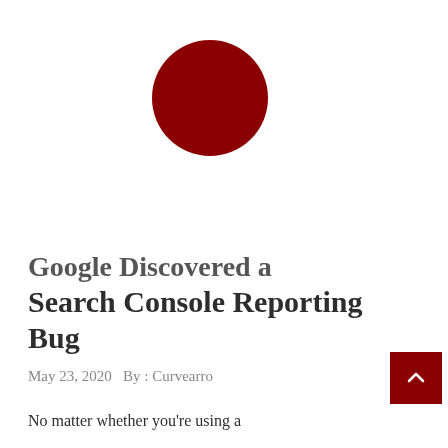[Figure (illustration): Dark red filled circle, logo or decorative element]
Google Discovered a Search Console Reporting Bug
May 23, 2020  By : Curvearro
No matter whether you're using a